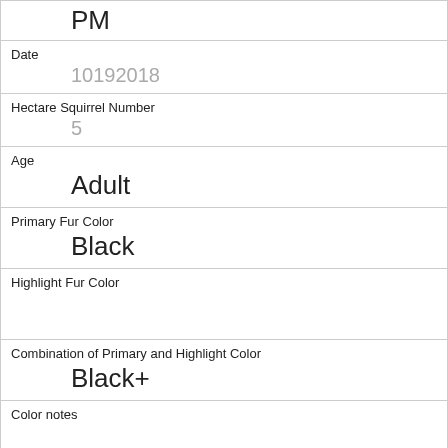PM
Date
10192018
Hectare Squirrel Number
5
Age
Adult
Primary Fur Color
Black
Highlight Fur Color
Combination of Primary and Highlight Color
Black+
Color notes
Location
Above Ground
Above Ground Sighter Measurement
10
Specific Location
Behind fence, tree